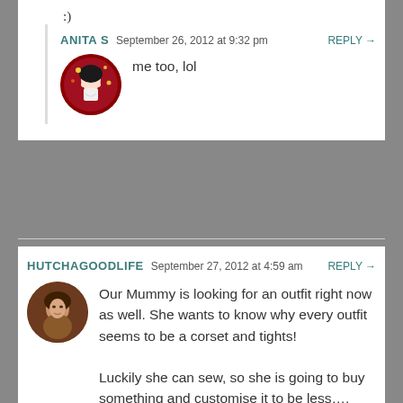:)
ANITA S   September 26, 2012 at 9:32 pm   REPLY →
[Figure (illustration): Round avatar of animated character with red sparkles background]
me too, lol
HUTCHAGOODLIFE   September 27, 2012 at 4:59 am   REPLY →
[Figure (photo): Round avatar of a person with dark hair]
Our Mummy is looking for an outfit right now as well. She wants to know why every outfit seems to be a corset and tights!

Luckily she can sew, so she is going to buy something and customise it to be less…. revealing!